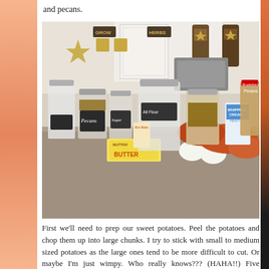and pecans.
[Figure (photo): Kitchen counter with baking ingredients: glass jars labeled Pecans, Sugar, All Flour, butter stick, two eggs, sweet potatoes, brown sugar, whipping cream carton, and a jar of pecans/toppings in a home kitchen setting with decorative stars and signs on the wall.]
First we'll need to prep our sweet potatoes. Peel the potatoes and chop them up into large chunks. I try to stick with small to medium sized potatoes as the large ones tend to be more difficult to cut. Or maybe I'm just wimpy. Who really knows??? (HAHA!!) Five potatoes doesn't seem like a lot but I promise they'll fill a whole casserole